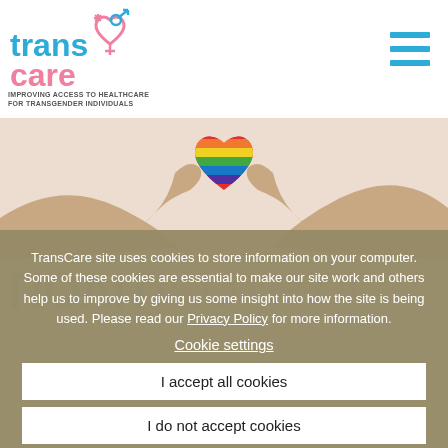[Figure (logo): TransCare logo with pink and blue transgender symbols and a heart]
IMPROVING ACCESS TO HEALTHCARE
FOR TRANSGENDER INDIVIDUALS
[Figure (photo): Hands holding a rainbow-colored heart shape against a light background]
ΠΟΛΙΤΙΚΗ ΙΔΙΩΤΙΚΟΤΗΤΑ (partial, background)
TransCare site uses cookies to store information on your computer. Some of these cookies are essential to make our site work and others help us to improve by giving us some insight into how the site is being used. Please read our Privacy Policy for more information.
Cookie settings
I accept all cookies
I do not accept cookies